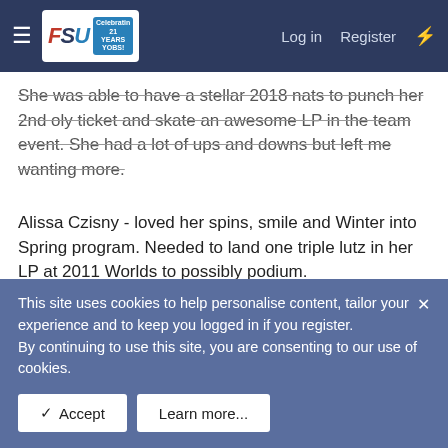FSU forum navigation bar with Log in and Register links
...She was able to have a stellar 2018 nats to punch her 2nd oly ticket and skate an awesome LP in the team event. She had a lot of ups and downs but left me wanting more.
Alissa Czisny - loved her spins, smile and Winter into Spring program. Needed to land one triple lutz in her LP at 2011 Worlds to possibly podium.
👍😍 Angela-Fan, avivadawn, museksk8r and 11 others
Oct 9, 2021  #4
Vagabond
This site uses cookies to help personalise content, tailor your experience and to keep you logged in if you register.
By continuing to use this site, you are consenting to our use of cookies.